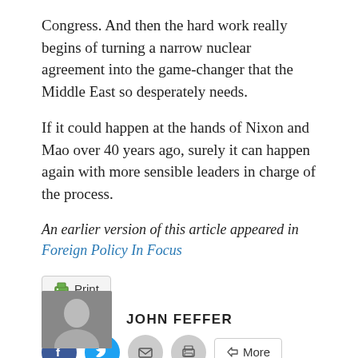Congress. And then the hard work really begins of turning a narrow nuclear agreement into the game-changer that the Middle East so desperately needs.
If it could happen at the hands of Nixon and Mao over 40 years ago, surely it can happen again with more sensible leaders in charge of the process.
An earlier version of this article appeared in Foreign Policy In Focus
[Figure (other): Print button with printer icon]
[Figure (other): Social sharing buttons: Facebook, Twitter, Email, Print, More]
[Figure (photo): Author photo thumbnail of John Feffer]
JOHN FEFFER